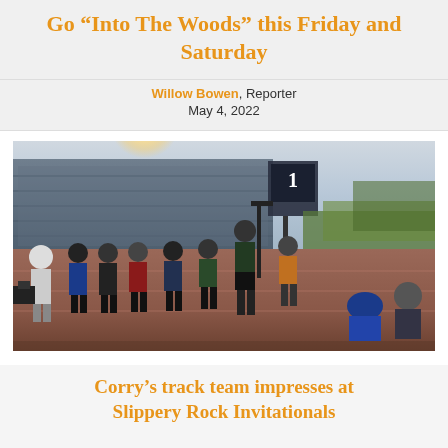Go “Into The Woods” this Friday and Saturday
Willow Bowen, Reporter
May 4, 2022
[Figure (photo): Track and field athletes standing on a running track at a stadium during a meet. Bleachers filled with spectators visible in the background. Bright sun glare in upper left. Green field and trees on right side.]
Corry’s track team impresses at Slippery Rock Invitationals